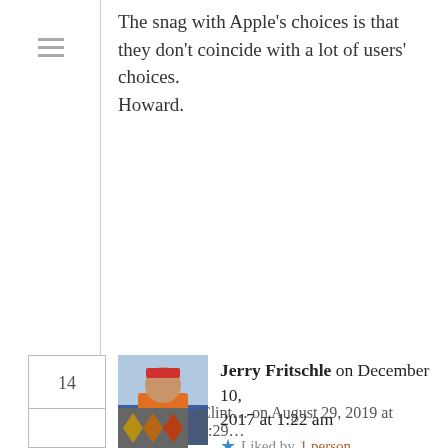The snag with Apple's choices is that they don't coincide with a lot of users' choices.
Howard.
Jerry Fritschle on December 10, 2017 at 1:22 am — Liked by 1 person
Yes, another point release to Sierra wouldn't have killed them. Heck, we're waiting for an undetermined point release to get all of the features promised in High Sierra 🙂 This ties into what you and others have written about marketing, not engineering, driving their timelines.
Clint… on August 29, 2019 at 2:29…